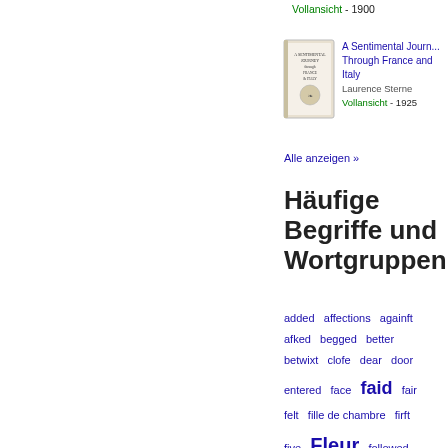[Figure (illustration): Book cover thumbnail for an older book, top right area, partially visible]
Vollansicht - 1900
[Figure (illustration): Book cover thumbnail for A Sentimental Journey Through France and Italy by Laurence Sterne, 1925]
A Sentimental Journey Through France and Italy
Laurence Sterne
Vollansicht - 1925
Alle anzeigen »
Häufige Begriffe und Wortgruppen
added   affections   againft   afked   begged   better   betwixt   clofe   dear   door   entered   face   faid   fair   felt   fille de chambre   firft   five   Fleur   followed   fome   France   French